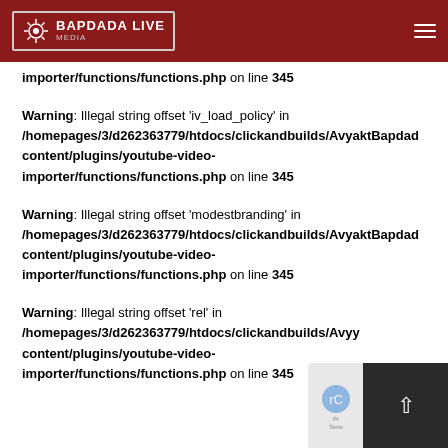BAPDADA LIVE Media
importer/functions/functions.php on line 345
Warning: Illegal string offset 'iv_load_policy' in /homepages/3/d262363779/htdocs/clickandbuilds/AvyaktBapdada/wp-content/plugins/youtube-video-importer/functions/functions.php on line 345
Warning: Illegal string offset 'modestbranding' in /homepages/3/d262363779/htdocs/clickandbuilds/AvyaktBapdada/wp-content/plugins/youtube-video-importer/functions/functions.php on line 345
Warning: Illegal string offset 'rel' in /homepages/3/d262363779/htdocs/clickandbuilds/AvyaktBapdada/wp-content/plugins/youtube-video-importer/functions/functions.php on line 345